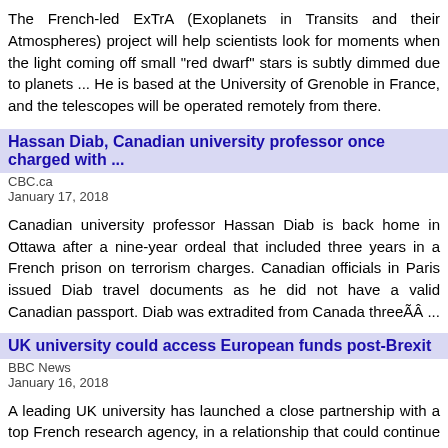The French-led ExTrA (Exoplanets in Transits and their Atmospheres) project will help scientists look for moments when the light coming off small "red dwarf" stars is subtly dimmed due to planets ... He is based at the University of Grenoble in France, and the telescopes will be operated remotely from there.
Hassan Diab, Canadian university professor once charged with ...
CBC.ca
January 17, 2018
Canadian university professor Hassan Diab is back home in Ottawa after a nine-year ordeal that included three years in a French prison on terrorism charges. Canadian officials in Paris issued Diab travel documents as he did not have a valid Canadian passport. Diab was extradited from Canada threeÃÂ ...
UK university could access European funds post-Brexit
BBC News
January 16, 2018
A leading UK university has launched a close partnership with a top French research agency, in a relationship that could continue to provide UK academics with access to European research funding after Brexit. Imperial College London, one of the world's top science institutes, has created a joint mathsÃÂ ...
France to overhaul the baccalaureate in tricky school ...